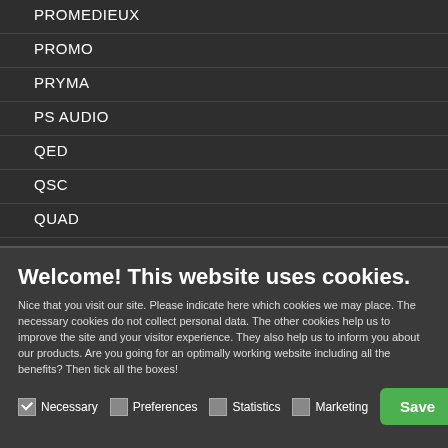PROMEDIEUX
PROMO
PRYMA
PS AUDIO
QED
QSC
QUAD
Welcome! This website uses cookies.
Nice that you visit our site. Please indicate here which cookies we may place. The necessary cookies do not collect personal data. The other cookies help us to improve the site and your visitor experience. They also help us to inform you about our products. Are you going for an optimally working website including all the benefits? Then tick all the boxes!
Necessary  Preferences  Statistics  Marketing  Save